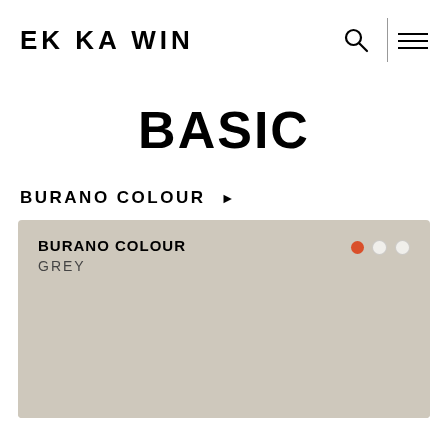EK KA WIN
BASIC
BURANO COLOUR ▶
[Figure (illustration): A card showing 'BURANO COLOUR / GREY' with a grey/beige textured colour swatch background, and three navigation dots (one orange/active, two white/inactive) in the top right.]